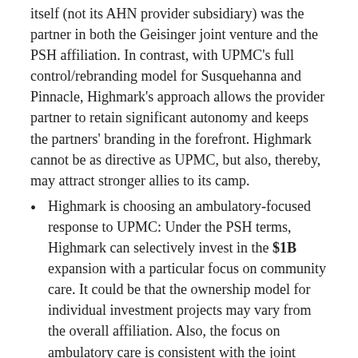itself (not its AHN provider subsidiary) was the partner in both the Geisinger joint venture and the PSH affiliation. In contrast, with UPMC's full control/rebranding model for Susquehanna and Pinnacle, Highmark's approach allows the provider partner to retain significant autonomy and keeps the partners' branding in the forefront. Highmark cannot be as directive as UPMC, but also, thereby, may attract stronger allies to its camp.
Highmark is choosing an ambulatory-focused response to UPMC: Under the PSH terms, Highmark can selectively invest in the $1B expansion with a particular focus on community care. It could be that the ownership model for individual investment projects may vary from the overall affiliation. Also, the focus on ambulatory care is consistent with the joint venture deal Highmark struck with Geisinger last year. Highmark appears to be carefully minimizing its